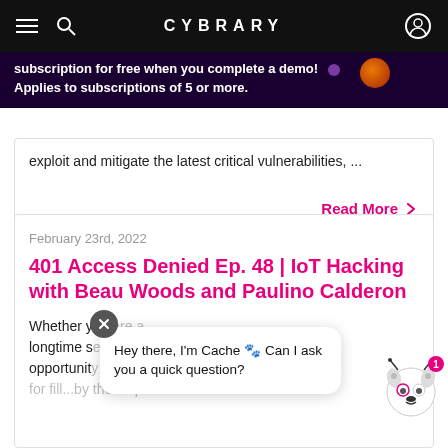CYBRARY
subscription for free when you complete a demo! Applies to subscriptions of 5 or more.
exploit and mitigate the latest critical vulnerabilities, ...
Read More
February 23rd, 2022
401 Access Denied Ep. 48 | IoT Hacking with Beau Woods and Paulino Calderon
Whether y... longtime s... opportunit...
Hey there, I'm Cache 🐾 Can I ask you a quick question?